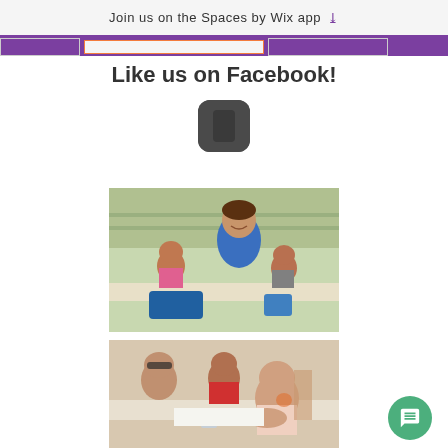Join us on the Spaces by Wix app
Like us on Facebook!
[Figure (screenshot): Dark rounded square icon, likely a Facebook app icon]
[Figure (photo): Outdoor event photo showing a smiling woman in blue shirt leaning over a table with two children doing an activity]
[Figure (photo): Indoor activity photo showing adults and children at a table doing a hands-on activity, with a toddler in foreground]